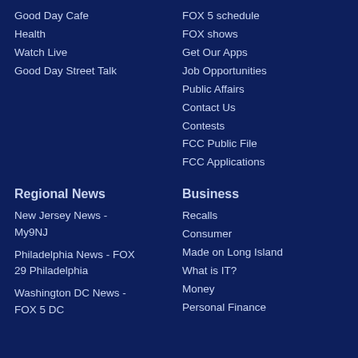Good Day Cafe
Health
Watch Live
Good Day Street Talk
FOX 5 schedule
FOX shows
Get Our Apps
Job Opportunities
Public Affairs
Contact Us
Contests
FCC Public File
FCC Applications
Regional News
New Jersey News - My9NJ
Philadelphia News - FOX 29 Philadelphia
Washington DC News - FOX 5 DC
Business
Recalls
Consumer
Made on Long Island
What is IT?
Money
Personal Finance